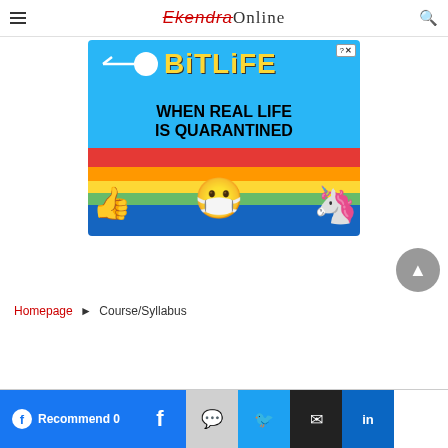EkendraOnline
[Figure (illustration): BitLife advertisement banner showing a sperm emoji, star-eyes emoji with mask, thumbs up hand, and unicorn with text 'WHEN REAL LIFE IS QUARANTINED' on colorful rainbow background]
Homepage ► Course/Syllabus
[Figure (infographic): Social sharing bar with Facebook Recommend button (count 0), Facebook, Messenger, Twitter, Email, and LinkedIn share buttons]